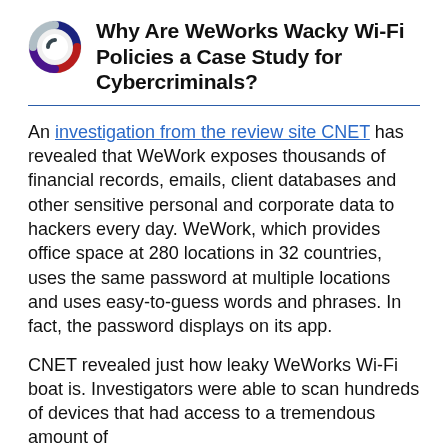Why Are WeWorks Wacky Wi-Fi Policies a Case Study for Cybercriminals?
An investigation from the review site CNET has revealed that WeWork exposes thousands of financial records, emails, client databases and other sensitive personal and corporate data to hackers every day. WeWork, which provides office space at 280 locations in 32 countries, uses the same password at multiple locations and uses easy-to-guess words and phrases. In fact, the password displays on its app.
CNET revealed just how leaky WeWorks Wi-Fi boat is. Investigators were able to scan hundreds of devices that had access to a tremendous amount of